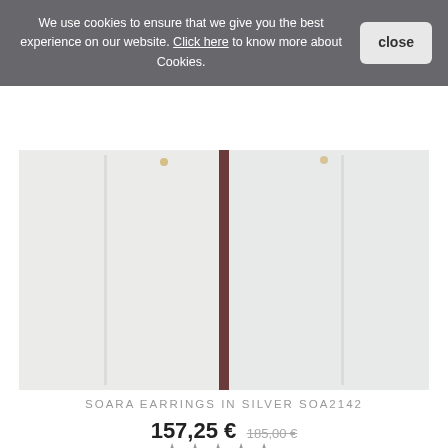We use cookies to ensure that we give you the best experience on our website. Click here to know more about Cookies. close
[Figure (photo): Product photo of Soara Earrings in Silver SOA2142 — two elongated silver earrings against a white/light background with a dark vertical divider in the middle]
SOARA EARRINGS IN SILVER SOA2142
157,25 € 185,00 €
★★★★★
ONLINE ONLY